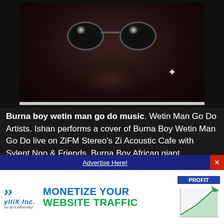[Figure (photo): Blurry video thumbnail of a man wearing sunglasses, dark background, with a progress bar at the bottom]
Burna boy wetin man go do music. Wetin Man Go Do Artists. Ishan performs a cover of Burna Boy Wetin Man Go Do live on ZiFM Stereo's Zi Acoustic Cafe with Sylent Nqo & Friends. Burna Boy African giant.

Hosted by Danny that Guy. Burna Boy Wetin Man Go Do (Official Audio) "African Giant" available
Advertise Here!
[Figure (advertisement): ylliX Inc. banner ad: MONETIZE YOUR WEBSITE TRAFFIC with a profit chart graphic]